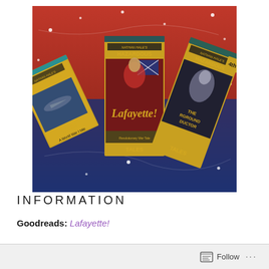[Figure (photo): Photo of three Nathan Hale's Hazardous Tales comic book covers fanned out on a red and blue glittery background. Visible titles include Lafayette!, The Underground (Abductor), and another volume. Books have yellow/gold lettering with illustrated covers.]
INFORMATION
Goodreads: Lafayette!